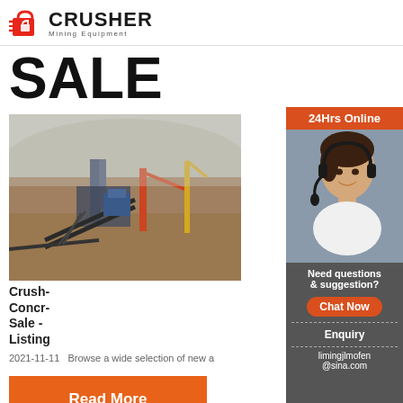[Figure (logo): Crusher Mining Equipment logo with red shopping bag/crusher icon and bold text 'CRUSHER' with subtitle 'Mining Equipment']
SALE
[Figure (photo): Outdoor industrial mining/crushing plant site with heavy machinery, conveyor belts, and dusty landscape with hills in background]
Crush- Concr- Sale - Listing
2021-11-11   Browse a wide selection of new a
Read More
[Figure (photo): Customer service representative woman wearing headset, smiling, with '24Hrs Online' banner above]
Need questions & suggestion?
Chat Now
Enquiry
limingjlmofen@sina.com